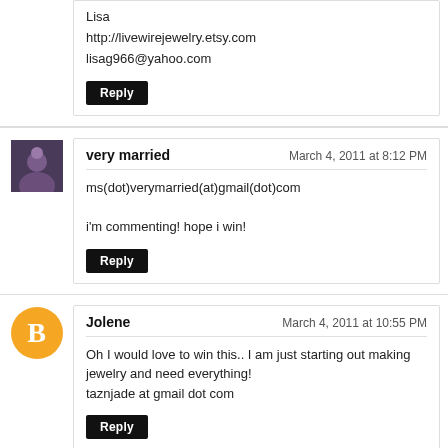Lisa
http://livewirejewelry.etsy.com
lisag966@yahoo.com
Reply
very married
March 4, 2011 at 8:12 PM
ms(dot)verymarried(at)gmail(dot)com
i'm commenting! hope i win!
Reply
Jolene
March 4, 2011 at 10:55 PM
Oh I would love to win this.. I am just starting out making jewelry and need everything!
taznjade at gmail dot com
Reply
Jolene
March 4, 2011 at 10:58 PM